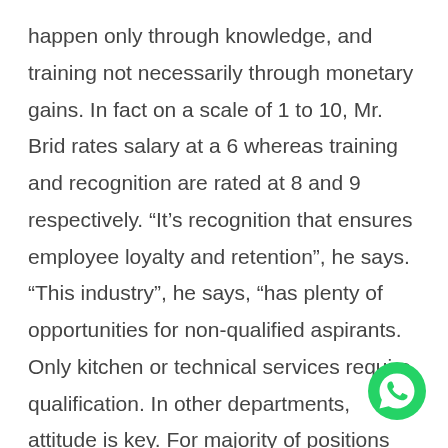happen only through knowledge, and training not necessarily through monetary gains. In fact on a scale of 1 to 10, Mr. Brid rates salary at a 6 whereas training and recognition are rated at 8 and 9 respectively. “It’s recognition that ensures employee loyalty and retention”, he says. “This industry”, he says, “has plenty of opportunities for non-qualified aspirants. Only kitchen or technical services require qualification. In other departments, attitude is key. For majority of positions experience and behaviour skills take precedence over qualifications.”